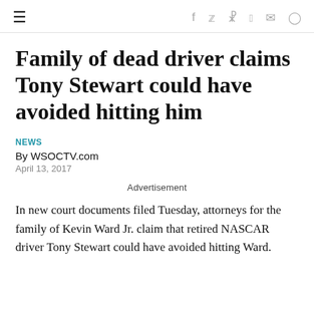≡  f  🐦  𝓟  reddit  ✉  💬
Family of dead driver claims Tony Stewart could have avoided hitting him
NEWS
By WSOCTV.com
April 13, 2017
Advertisement
In new court documents filed Tuesday, attorneys for the family of Kevin Ward Jr. claim that retired NASCAR driver Tony Stewart could have avoided hitting Ward.